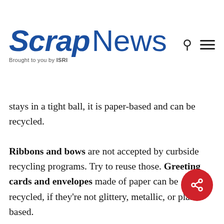Scrap News — Brought to you by ISRI
stays in a tight ball, it is paper-based and can be recycled.
Ribbons and bows are not accepted by curbside recycling programs. Try to reuse those. Greeting cards and envelopes made of paper can be recycled, if they're not glittery, metallic, or plastic based.
Boxes from online delivery orders can be used to collect recycling around the house, giving a full life cycle to every paper piece invo… a gift order. Remove any non-paper items from cardboard boxes and flatten them before